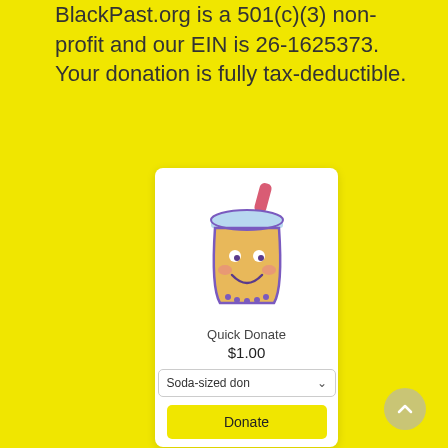BlackPast.org is a 501(c)(3) non-profit and our EIN is 26-1625373. Your donation is fully tax-deductible.
[Figure (illustration): Cute cartoon boba drink cup with a face (eyes, smile, rosy cheeks) and a pink straw, in yellow-orange and purple colors]
Quick Donate
$1.00
Soda-sized don
Donate